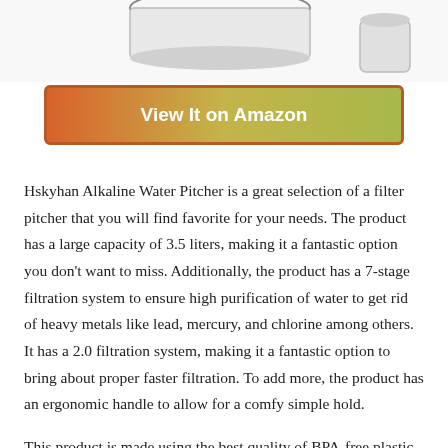[Figure (photo): Partial view of a water pitcher product photo on white background]
View It on Amazon
Hskyhan Alkaline Water Pitcher is a great selection of a filter pitcher that you will find favorite for your needs. The product has a large capacity of 3.5 liters, making it a fantastic option you don't want to miss. Additionally, the product has a 7-stage filtration system to ensure high purification of water to get rid of heavy metals like lead, mercury, and chlorine among others. It has a 2.0 filtration system, making it a fantastic option to bring about proper faster filtration. To add more, the product has an ergonomic handle to allow for a comfy simple hold.
This product is made using the best quality of BPA-free plastic material to bring about prolonged use and safe for your needs. The water pitcher is fitted with a long-lasting filter system to serve longer enough just as